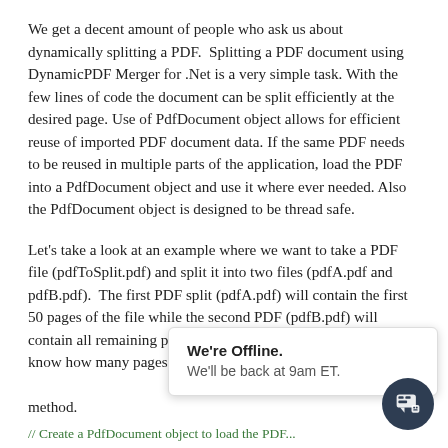We get a decent amount of people who ask us about dynamically splitting a PDF.  Splitting a PDF document using DynamicPDF Merger for .Net is a very simple task. With the few lines of code the document can be split efficiently at the desired page. Use of PdfDocument object allows for efficient reuse of imported PDF document data. If the same PDF needs to be reused in multiple parts of the application, load the PDF into a PdfDocument object and use it where ever needed. Also the PdfDocument object is designed to be thread safe.
Let's take a look at an example where we want to take a PDF file (pdfToSplit.pdf) and split it into two files (pdfA.pdf and pdfB.pdf).  The first PDF split (pdfA.pdf) will contain the first 50 pages of the file while the second PDF (pdfB.pdf) will contain all remaining pages.  Notice that we do not need to know how many pages the original PDF contained by utilizin[g the] Cou[nt] method.